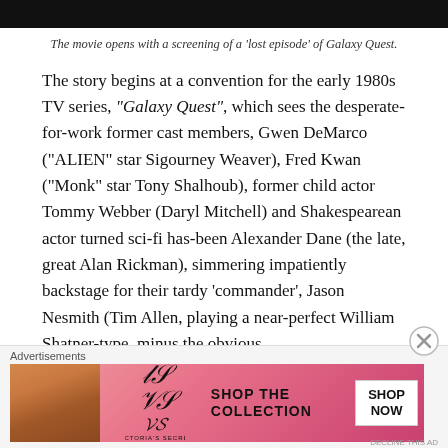[Figure (photo): Top portion of a photo, showing a dark background, partially cropped]
The movie opens with a screening of a 'lost episode' of Galaxy Quest.
The story begins at a convention for the early 1980s TV series, “Galaxy Quest”, which sees the desperate-for-work former cast members, Gwen DeMarco (“ALIEN” star Sigourney Weaver), Fred Kwan (“Monk” star Tony Shalhoub), former child actor Tommy Webber (Daryl Mitchell) and Shakespearean actor turned sci-fi has-been Alexander Dane (the late, great Alan Rickman), simmering impatiently backstage for their tardy ‘commander’, Jason Nesmith (Tim Allen, playing a near-perfect William Shatner-type, minus the obvious
Advertisements
[Figure (photo): Victoria's Secret advertisement banner showing a woman with curly hair on the left, Victoria's Secret logo in the center, 'SHOP THE COLLECTION' text, and a 'SHOP NOW' button on the right, on a pink gradient background]